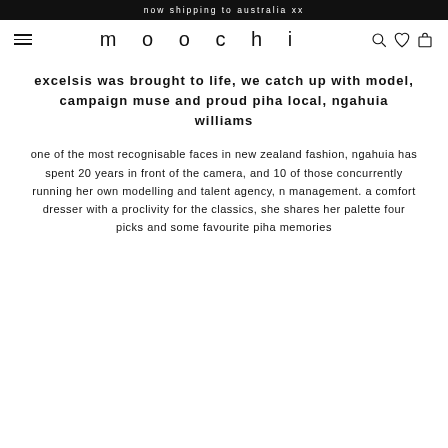now shipping to australia xx
excelsis was brought to life, we catch up with model, campaign muse and proud piha local, ngahuia williams
one of the most recognisable faces in new zealand fashion, ngahuia has spent 20 years in front of the camera, and 10 of those concurrently running her own modelling and talent agency, n management. a comfort dresser with a proclivity for the classics, she shares her palette four picks and some favourite piha memories